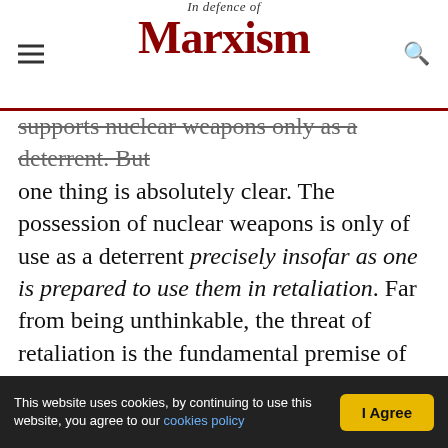In Defence of Marxism
supports nuclear weapons only as a deterrent. But one thing is absolutely clear. The possession of nuclear weapons is only of use as a deterrent precisely insofar as one is prepared to use them in retaliation. Far from being unthinkable, the threat of retaliation is the fundamental premise of every nuclear power in the world, including the United Kingdom. It is only in the imaginary Kingdom of the Pacifist Warmongers that such a contradiction could exist. And for that same reason, nobody except Mr Mason takes it seriously.
Good for the b...
This website uses cookies, by continuing to use this website, you agree to our cookies policy